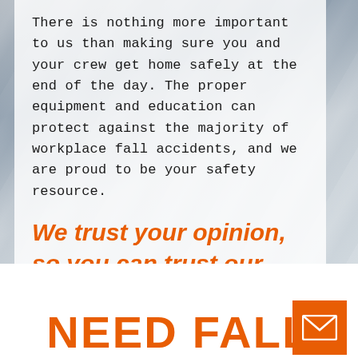There is nothing more important to us than making sure you and your crew get home safely at the end of the day. The proper equipment and education can protect against the majority of workplace fall accidents, and we are proud to be your safety resource.
We trust your opinion, so you can trust our gear! Malta Dynamics- Field Tested, Field Approved.
NEED FALL
[Figure (illustration): Orange square button with white envelope/mail icon]